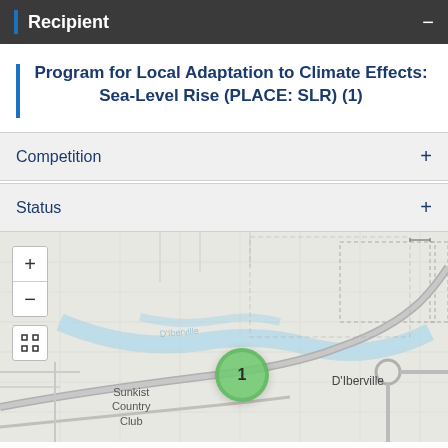Recipient
Program for Local Adaptation to Climate Effects: Sea-Level Rise (PLACE: SLR) (1)
Competition
Status
[Figure (map): Interactive map showing geographic area near D'Iberville and Sunkist Country Club with a green cluster marker labeled '1', zoom controls (+/-), and a fullscreen button. Road networks and waterways are visible.]